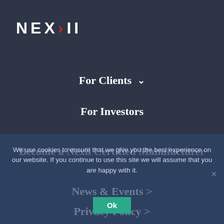[Figure (logo): NEXII logo with red X on dark navy background]
For Clients
For Investors
We use cookies to ensure that we give you the best experience on our website. If you continue to use this site we will assume that you are happy with it.
Become a Nexii Certified Manufacturer
News & Events >
Privacy Policy >
Ok